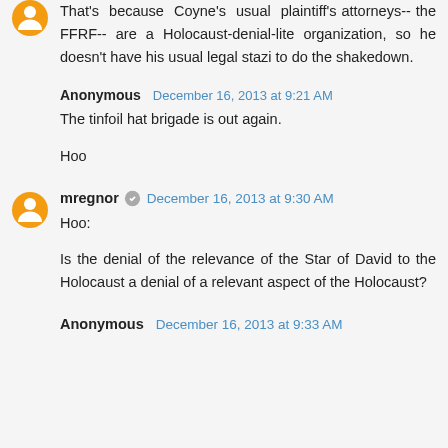That's because Coyne's usual plaintiff's attorneys-- the FFRF-- are a Holocaust-denial-lite organization, so he doesn't have his usual legal stazi to do the shakedown.
Anonymous December 16, 2013 at 9:21 AM
The tinfoil hat brigade is out again.

Hoo
mregnor December 16, 2013 at 9:30 AM
Hoo:

Is the denial of the relevance of the Star of David to the Holocaust a denial of a relevant aspect of the Holocaust?
Anonymous December 16, 2013 at 9:33 AM